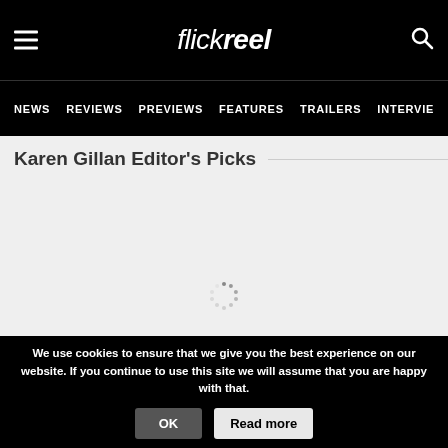flickreel — NEWS | REVIEWS | PREVIEWS | FEATURES | TRAILERS | INTERVIEWS
Karen Gillan Editor's Picks
[Figure (infographic): Loading spinner (circular dotted spinner) shown in gray content area while content loads]
We use cookies to ensure that we give you the best experience on our website. If you continue to use this site we will assume that you are happy with that. OK  Read more